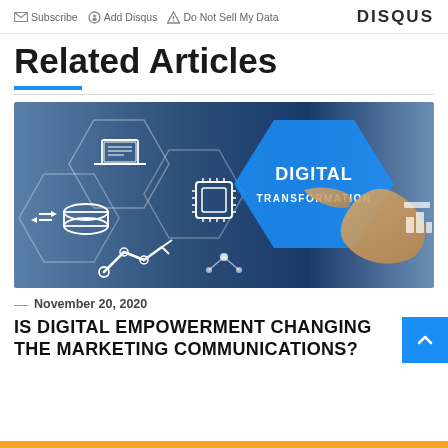Subscribe  Add Disqus  Do Not Sell My Data  DISQUS
Related Articles
[Figure (photo): Digital transformation concept image showing hexagonal technology icons including a laptop, database, microchip, robotic arm, and a hand pointing, with 'DIGITAL TRANSFORMATION' text overlay]
— November 20, 2020
IS DIGITAL EMPOWERMENT CHANGING THE MARKETING COMMUNICATIONS?